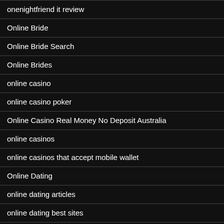onenightfriend it review
Online Bride
Online Bride Search
Online Brides
online casino
online casino poker
Online Casino Real Money No Deposit Australia
online casinos
online casinos that accept mobile wallet
Online Dating
online dating articles
online dating best sites